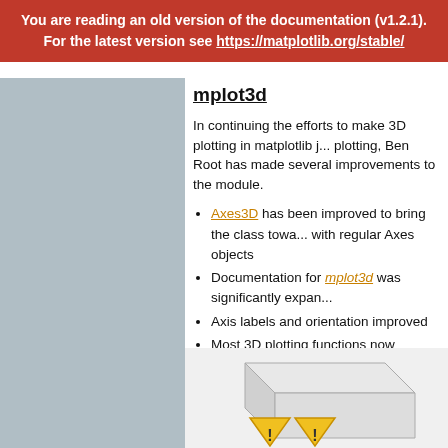You are reading an old version of the documentation (v1.2.1). For the latest version see https://matplotlib.org/stable/
mplot3d
In continuing the efforts to make 3D plotting in matplotlib just as easy as 2D plotting, Ben Root has made several improvements to the mplot3d module.
Axes3D has been improved to bring the class towards feature-parity with regular Axes objects
Documentation for mplot3d was significantly expanded
Axis labels and orientation improved
Most 3D plotting functions now support empty inputs
Ticker offset display added:
(Source code, png, hires.png, pdf)
[Figure (illustration): Partial view of a 3D matplotlib plot with warning triangle icons visible at the bottom]